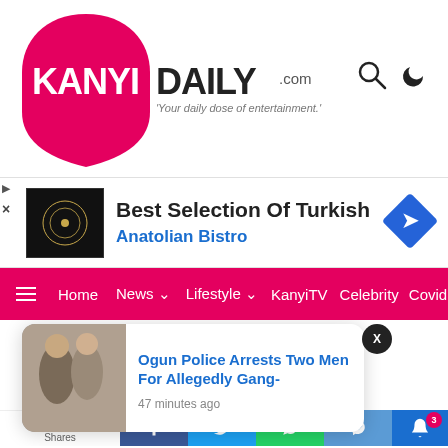KanyiDaily.com — Your daily dose of entertainment.
[Figure (illustration): Advertisement banner: Best Selection Of Turkish Anatolian Bistro with logo image and blue diamond arrow icon]
[Figure (infographic): Navigation bar with hamburger menu, Home, News, Lifestyle, KanyiTV, Celebrity, Covid1 menu items on pink/red background]
[Figure (screenshot): News notification popup: 'Ogun Police Arrests Two Men For Allegedly Gang-' with thumbnail image, 47 minutes ago. X close button. Share bar with Facebook, Twitter, WhatsApp, Messenger icons. Bell notification button with badge 3. Shares count 010.]